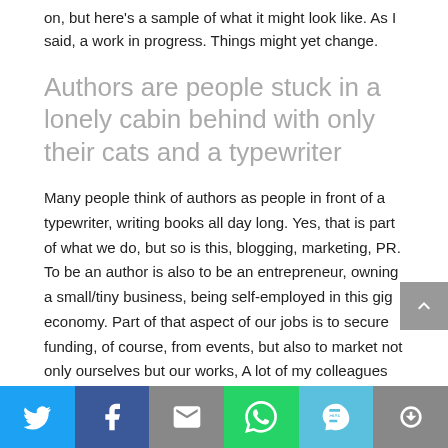on, but here's a sample of what it might look like. As I said, a work in progress. Things might yet change.
Authors are people stuck in a lonely cabin behind with only their cats and a typewriter
Many people think of authors as people in front of a typewriter, writing books all day long. Yes, that is part of what we do, but so is this, blogging, marketing, PR. To be an author is also to be an entrepreneur, owning a small/tiny business, being self-employed in this gig economy. Part of that aspect of our jobs is to secure funding, of course, from events, but also to market not only ourselves but our works, A lot of my colleagues believe this to be the publisher's job, and yes, they do have their role to play, particularly as it means to get the product into stores, aka book stores and libraries, but they
[Figure (infographic): Social sharing bar with icons for Twitter, Facebook, Email, WhatsApp, SMS, and More (represented by a circular arrow icon)]